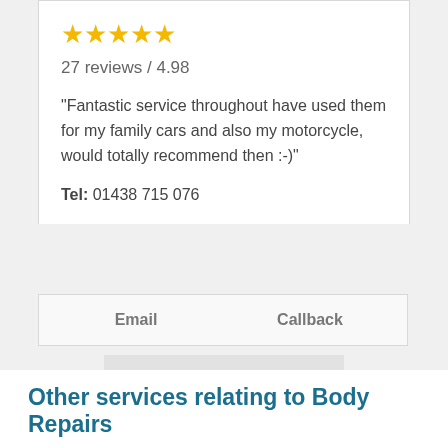[Figure (other): Five gold star rating icons]
27 reviews / 4.98
"Fantastic service throughout have used them for my family cars and also my motorcycle, would totally recommend then :-)"
Tel:  01438 715 076
Email    Callback
View more
Other services relating to Body Repairs